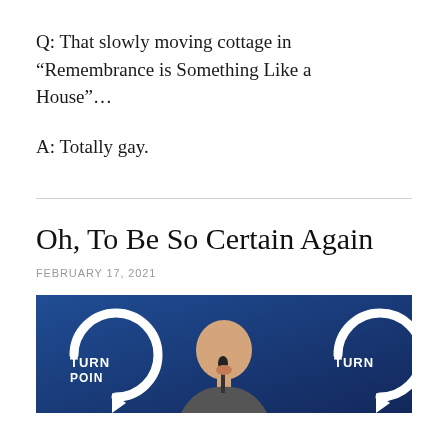Q: That slowly moving cottage in “Remembrance is Something Like a House”…
A: Totally gay.
Oh, To Be So Certain Again
FEBRUARY 17, 2021
[Figure (photo): A bald man speaking at a microphone at a TPUSA (Turning Point USA) event, shown from the chest up, with dark blue backdrop featuring partial TURNING POINT logos on either side.]